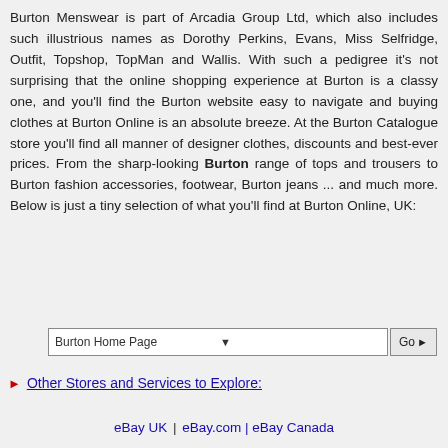Burton Menswear is part of Arcadia Group Ltd, which also includes such illustrious names as Dorothy Perkins, Evans, Miss Selfridge, Outfit, Topshop, TopMan and Wallis. With such a pedigree it's not surprising that the online shopping experience at Burton is a classy one, and you'll find the Burton website easy to navigate and buying clothes at Burton Online is an absolute breeze. At the Burton Catalogue store you'll find all manner of designer clothes, discounts and best-ever prices. From the sharp-looking Burton range of tops and trousers to Burton fashion accessories, footwear, Burton jeans ... and much more. Below is just a tiny selection of what you'll find at Burton Online, UK:
[Figure (screenshot): A dropdown selector showing 'Burton Home Page' with a Go button]
Other Stores and Services to Explore:
eBay UK | eBay.com | eBay Canada